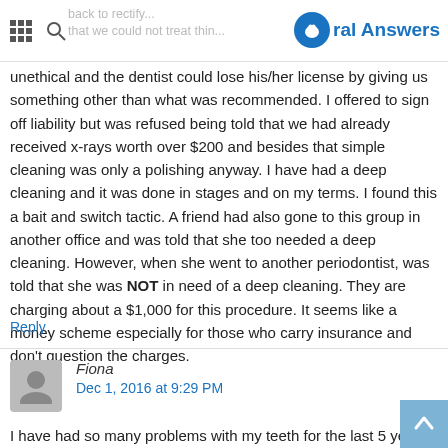Oral Answers
unethical and the dentist could lose his/her license by giving us something other than what was recommended. I offered to sign off liability but was refused being told that we had already received x-rays worth over $200 and besides that simple cleaning was only a polishing anyway. I have had a deep cleaning and it was done in stages and on my terms. I found this a bait and switch tactic. A friend had also gone to this group in another office and was told that she too needed a deep cleaning. However, when she went to another periodontist, was told that she was NOT in need of a deep cleaning. They are charging about a $1,000 for this procedure. It seems like a money scheme especially for those who carry insurance and don't question the charges.
Reply
Fiona
Dec 1, 2016 at 9:29 PM
I have had so many problems with my teeth for the last 5 years with